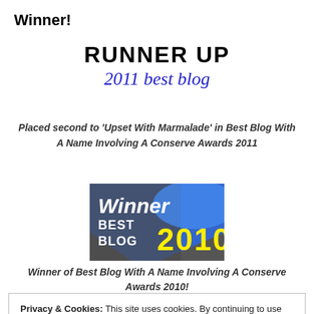Winner!
[Figure (illustration): Runner Up 2011 best blog badge: bold black text RUNNER UP and italic script blue text '2011 best blog']
Placed second to 'Upset With Marmalade' in Best Blog With A Name Involving A Conserve Awards 2011
[Figure (illustration): Winner Best Blog 2010 badge with blue/grey background, white text 'Winner BEST BLOG' and yellow text '2010']
Winner of Best Blog With A Name Involving A Conserve Awards 2010!
Privacy & Cookies: This site uses cookies. By continuing to use this website, you agree to their use.
To find out more, including how to control cookies, see here: Cookie Policy